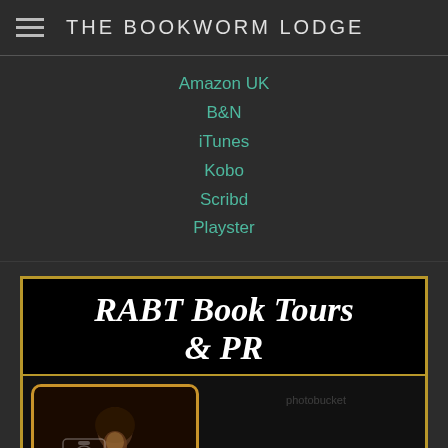THE BOOKWORM LODGE
Amazon UK
B&N
iTunes
Kobo
Scribd
Playster
[Figure (logo): RABT Book Tours & PR banner with Tour Host badge. Black background with gold border. Title reads 'RABT Book Tours & PR' in white italic bold text. Below is a photo of a woman reading a glowing book alongside the text 'TOUR HOST'. Bottom section has colorful star decorations on black background. Photobucket watermark visible.]